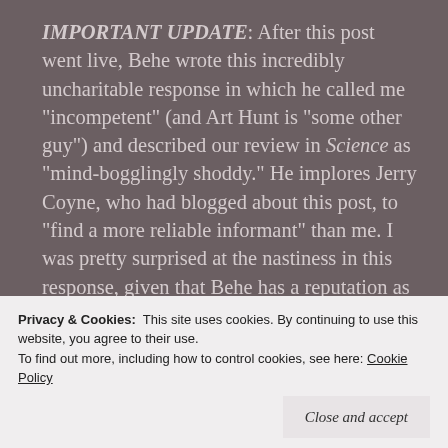IMPORTANT UPDATE: After this post went live, Behe wrote this incredibly uncharitable response in which he called me "incompetent" (and Art Hunt is "some other guy") and described our review in Science as "mind-bogglingly shoddy." He implores Jerry Coyne, who had blogged about this post, to "find a more reliable informant" than me. I was pretty surprised at the nastiness in this response, given that Behe has a reputation as being kind and soft-spoken. In fairness, few of us are at our best when caught in an obvious mistake. I digress.

In his response, Behe claims that I misrepresented his position
Privacy & Cookies: This site uses cookies. By continuing to use this website, you agree to their use.
To find out more, including how to control cookies, see here: Cookie Policy